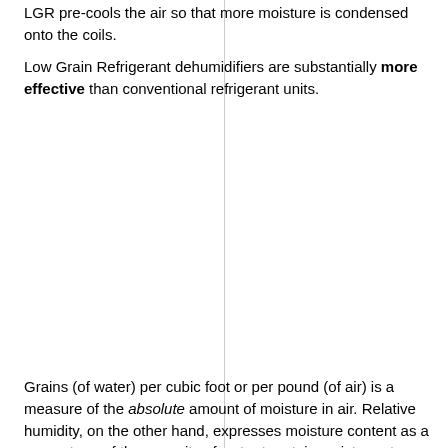LGR pre-cools the air so that more moisture is condensed onto the coils.
Low Grain Refrigerant dehumidifiers are substantially more effective than conventional refrigerant units.
Grains (of water) per cubic foot or per pound (of air) is a measure of the absolute amount of moisture in air. Relative humidity, on the other hand, expresses moisture content as a percentage of the capacity of water to retain moisture at a given temperature. The